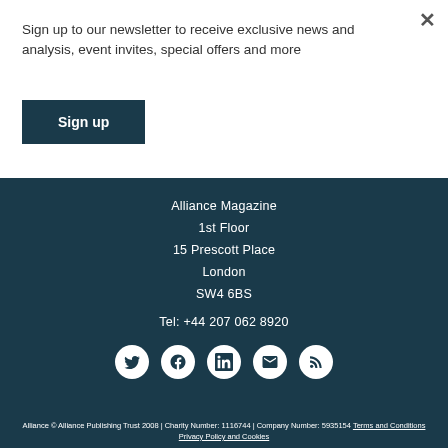Sign up to our newsletter to receive exclusive news and analysis, event invites, special offers and more
Sign up
Alliance Magazine
1st Floor
15 Prescott Place
London
SW4 6BS
Tel: +44 207 062 8920
[Figure (infographic): Five social media icons in white circles on dark background: Twitter, Facebook, LinkedIn, Email, RSS]
Alliance © Alliance Publishing Trust 2008 | Charity Number: 1116744 | Company Number: 5935154 Terms and Conditions Privacy Policy and Cookies